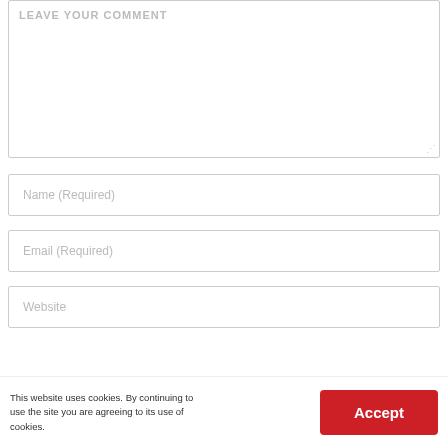[Figure (screenshot): Comment form text area with placeholder text LEAVE YOUR COMMENT, resize handle at bottom right]
Name (Required)
Email (Required)
Website
POST COMMENT
This website uses cookies. By continuing to use the site you are agreeing to its use of cookies.
Accept